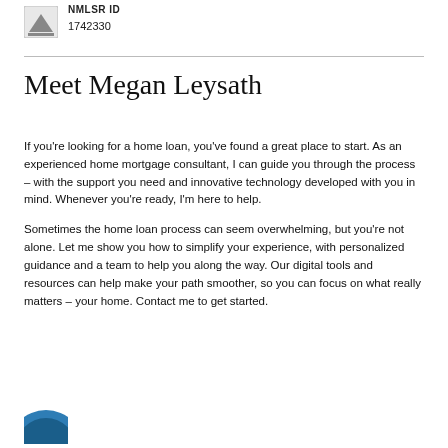NMLSR ID
1742330
Meet Megan Leysath
If you're looking for a home loan, you've found a great place to start. As an experienced home mortgage consultant, I can guide you through the process – with the support you need and innovative technology developed with you in mind. Whenever you're ready, I'm here to help.
Sometimes the home loan process can seem overwhelming, but you're not alone. Let me show you how to simplify your experience, with personalized guidance and a team to help you along the way. Our digital tools and resources can help make your path smoother, so you can focus on what really matters – your home. Contact me to get started.
[Figure (logo): Circular blue icon at the bottom left, partial view]